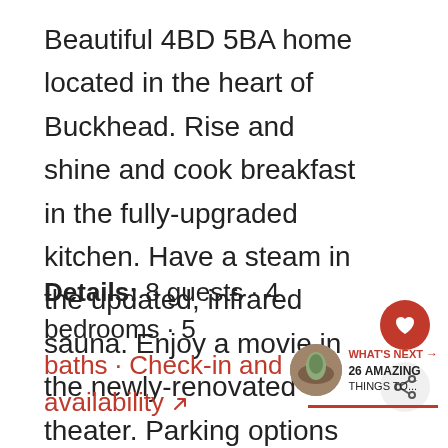Beautiful 4BD 5BA home located in the heart of Buckhead. Rise and shine and cook breakfast in the fully-upgraded kitchen. Have a steam in the updated, infrared sauna. Enjoy a movie in the newly-renovated theater. Parking options include a two-car garage and carport with a driveway for 10 other vehicles.
Details: 8 guests · 4 bedrooms · 5 baths · Check-in and availability